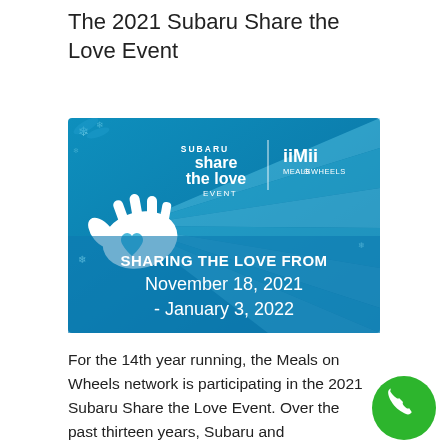The 2021 Subaru Share the Love Event
[Figure (photo): Subaru Share the Love Event promotional image featuring a white hand holding a blue heart on a blue background with rays, with Meals on Wheels logo and text: SHARING THE LOVE FROM November 18, 2021 - January 3, 2022]
For the 14th year running, the Meals on Wheels network is participating in the 2021 Subaru Share the Love Event. Over the past thirteen years, Subaru and